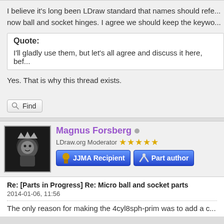I believe it's long been LDraw standard that names should refe... now ball and socket hinges. I agree we should keep the keywo...
Quote:
I'll gladly use them, but let's all agree and discuss it here, bef...
Yes. That is why this thread exists.
Find
Magnus Forsberg
LDraw.org Moderator ★★★★★
JJMA Recipient
Part author
Re: [Parts in Progress] Re: Micro ball and socket parts
2014-01-06, 11:56
The only reason for making the 4cyl8sph-prim was to add a c...